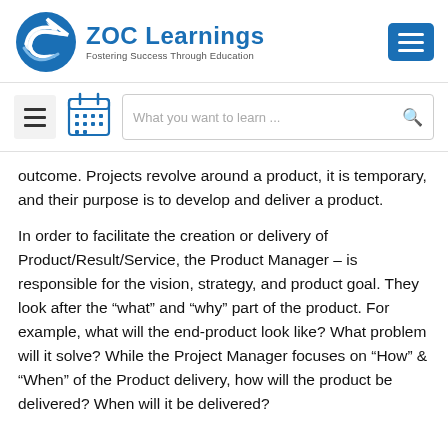[Figure (logo): ZOC Learnings logo with blue circular arrow icon, bold blue text 'ZOC Learnings', subtitle 'Fostering Success Through Education', and a blue hamburger menu button on the right]
[Figure (other): Navigation bar with hamburger icon, calendar icon, and a search box reading 'What you want to learn...' with a search icon]
outcome. Projects revolve around a product, it is temporary, and their purpose is to develop and deliver a product.
In order to facilitate the creation or delivery of Product/Result/Service, the Product Manager – is responsible for the vision, strategy, and product goal. They look after the “what” and “why” part of the product. For example, what will the end-product look like? What problem will it solve? While the Project Manager focuses on “How” & “When” of the Product delivery, how will the product be delivered? When will it be delivered?